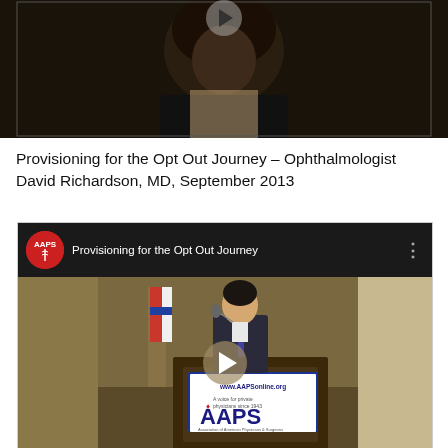[Figure (screenshot): Video thumbnail showing a person with dark hair wearing a dark jacket against a dark background, with a play button overlay.]
Provisioning for the Opt Out Journey – Ophthalmologist David Richardson, MD, September 2013
[Figure (screenshot): YouTube video embed showing 'Provisioning for the Opt Out Journey' with AAPS logo, title bar, and a man in a suit speaking at a podium with an AAPS banner reading 'www.AAPSonline.org – A voice for private physicians since 1943' and 'AAPS – Association of American Physicians & Surgeons'.]